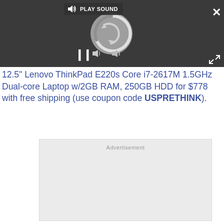[Figure (screenshot): Video player overlay with dark background showing a loading spinner circle, pause button, play sound bar at top, close (X) button top right, and expand arrows bottom right.]
12.5" Lenovo ThinkPad E220s Core i7-2617M 1.5GHz Dual-core Laptop w/2GB RAM, 250GB HDD for $778 with free shipping (use coupon code USPRETHINK).
[Figure (other): Advertisement placeholder box with light gray background and 'Advertisement' label.]